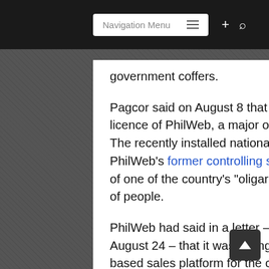Navigation Menu
government coffers.
Pagcor said on August 8 that the regulator would not renew the operating licence of PhilWeb, a major operator of eGames parlours in that country. The recently installed national president, Rodrigo Duterte, had singled out PhilWeb's former controlling shareholder, Roberto Ongpin, as an example of one of the country's “ligarchs”, and indicated his hostility to that class of people.
PhilWeb had said in a letter – filed with the Philippine Stock Exchange on August 24 – that it was willing to revive a plan to operate a text message-based sales platform for the country's licensed lotteries.